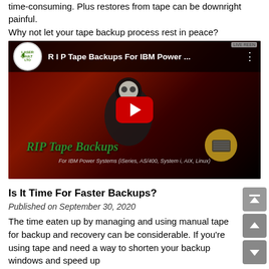time-consuming. Plus restores from tape can be downright painful.
Why not let your tape backup process rest in peace?
[Figure (screenshot): YouTube video thumbnail for 'R I P Tape Backups For IBM Power ...' showing a grim reaper figure with a play button, text 'RIP Tape Backups' and 'For IBM Power Systems (iSeries, AS/400, System i, AIX, Linux)'. Laser Vault LTO logo in top-left circle.]
Is It Time For Faster Backups?
Published on September 30, 2020
The time eaten up by managing and using manual tape for backup and recovery can be considerable. If you're using tape and need a way to shorten your backup windows and speed up